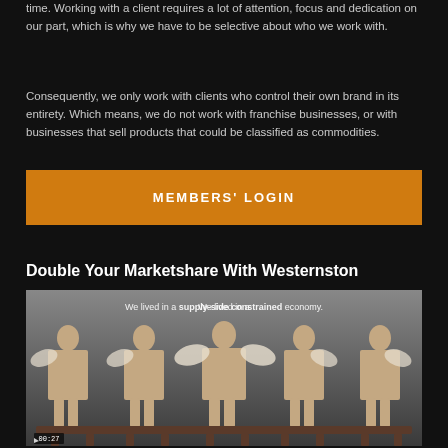time. Working with a client requires a lot of attention, focus and dedication on our part, which is why we have to be selective about who we work with.
Consequently, we only work with clients who control their own brand in its entirety. Which means, we do not work with franchise businesses, or with businesses that sell products that could be classified as commodities.
MEMBERS' LOGIN
Double Your Marketshare With Westernston
[Figure (screenshot): Video thumbnail showing five women dressed as angels sitting in a row, with text overlay 'We lived in a supply-side constrained economy.' and a video timer showing 00:27]